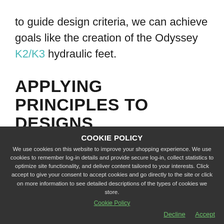to guide design criteria, we can achieve goals like the creation of the Odyssey K2/K3 hydraulic feet.
APPLYING PRINCIPLES TO DESIGNS
In 2012, we embarked on a project to develop College Park's next prosthetic foot, the Odyssey. The hydraulically dampened prosthetic foot market...
COOKIE POLICY

We use cookies on this website to improve your shopping experience. We use cookies to remember log-in details and provide secure log-in, collect statistics to optimize site functionality, and deliver content tailored to your interests. Click accept to give your consent to accept cookies and go directly to the site or click on more information to see detailed descriptions of the types of cookies we store.

Cookie Policy

Decline  Accept